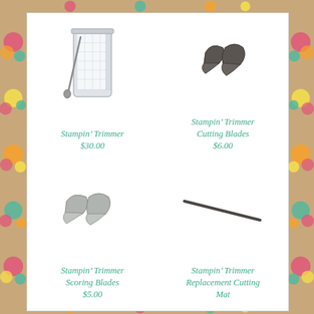[Figure (illustration): Stampin' Trimmer paper cutter tool]
Stampin’ Trimmer
$30.00
[Figure (illustration): Two dark brown trimmer cutting blades]
Stampin’ Trimmer Cutting Blades
$6.00
[Figure (illustration): Two gray trimmer scoring blades]
Stampin’ Trimmer Scoring Blades
$5.00
[Figure (illustration): A thin replacement cutting mat strip]
Stampin’ Trimmer Replacement Cutting Mat